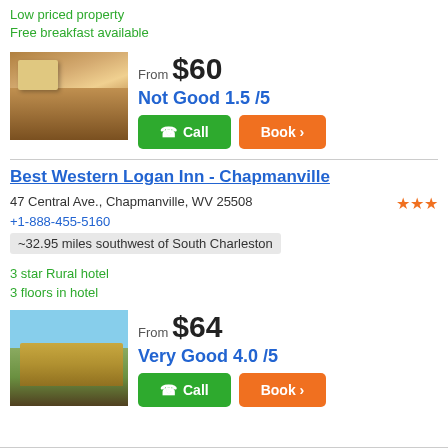Low priced property
Free breakfast available
[Figure (photo): Hotel room with two beds, brown/gold decor]
From $60
Not Good 1.5 /5
Call
Book >
Best Western Logan Inn - Chapmanville
47 Central Ave., Chapmanville, WV 25508
+1-888-455-5160
~32.95 miles southwest of South Charleston
3 star Rural hotel
3 floors in hotel
[Figure (photo): Best Western Logan Inn exterior, multi-story building with trees]
From $64
Very Good 4.0 /5
Call
Book >